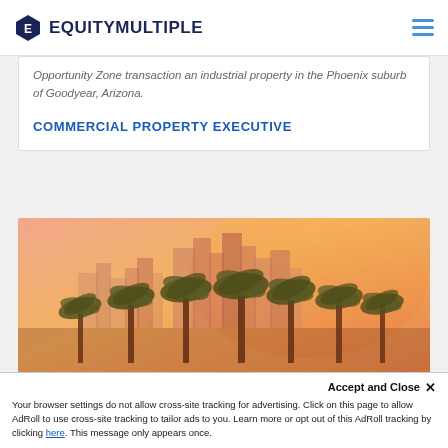EQUITYMULTIPLE
Opportunity Zone transaction  an industrial property in the Phoenix suburb of Goodyear, Arizona.
COMMERCIAL PROPERTY EXECUTIVE
[Figure (photo): City skyline with palm trees silhouetted against an orange/pink sunset sky]
This site uses cookies to ensure a great
Accept and Close ✕ Your browser settings do not allow cross-site tracking for advertising. Click on this page to allow AdRoll to use cross-site tracking to tailor ads to you. Learn more or opt out of this AdRoll tracking by clicking here. This message only appears once.